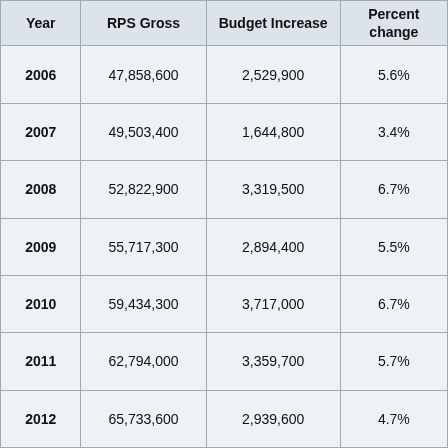| Year | RPS Gross | Budget Increase | Percent change |
| --- | --- | --- | --- |
| 2006 | 47,858,600 | 2,529,900 | 5.6% |
| 2007 | 49,503,400 | 1,644,800 | 3.4% |
| 2008 | 52,822,900 | 3,319,500 | 6.7% |
| 2009 | 55,717,300 | 2,894,400 | 5.5% |
| 2010 | 59,434,300 | 3,717,000 | 6.7% |
| 2011 | 62,794,000 | 3,359,700 | 5.7% |
| 2012 | 65,733,600 | 2,939,600 | 4.7% |